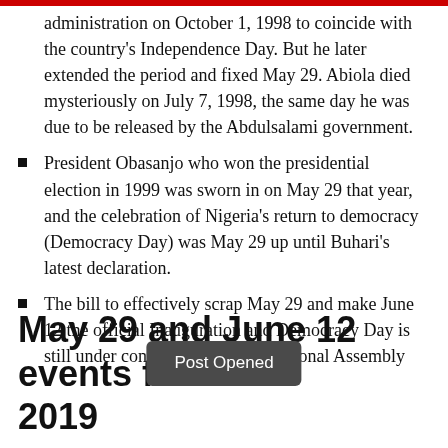administration on October 1, 1998 to coincide with the country's Independence Day. But he later extended the period and fixed May 29. Abiola died mysteriously on July 7, 1998, the same day he was due to be released by the Abdulsalami government.
President Obasanjo who won the presidential election in 1999 was sworn in on May 29 that year, and the celebration of Nigeria's return to democracy (Democracy Day) was May 29 up until Buhari's latest declaration.
The bill to effectively scrap May 29 and make June 12 the official Inauguration and Democracy Day is still under consideration in the National Assembly
May 29 and June 12 events for 2019